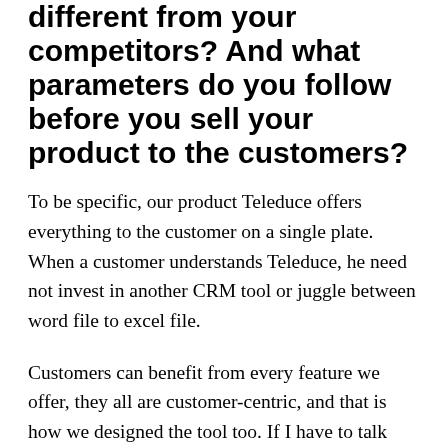different from your competitors? And what parameters do you follow before you sell your product to the customers?
To be specific, our product Teleduce offers everything to the customer on a single plate. When a customer understands Teleduce, he need not invest in another CRM tool or juggle between word file to excel file.
Customers can benefit from every feature we offer, they all are customer-centric, and that is how we designed the tool too. If I have to talk about competitors, I would like to put it this way “ Our customers are our competitors, and they bring out the best in us.”
Coming to the question, what parameters do you follow...